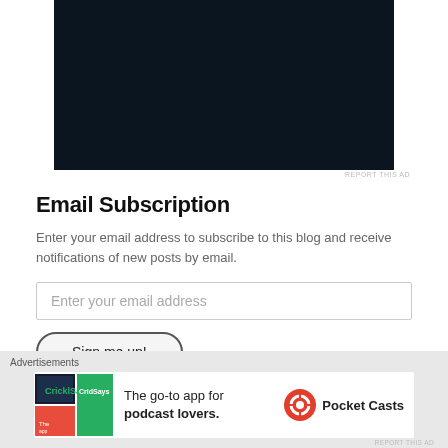[Figure (screenshot): Dark nearly black rectangle representing a video or image placeholder]
REPORT THIS AD
Email Subscription
Enter your email address to subscribe to this blog and receive notifications of new posts by email.
Enter your email address
Sign me up!
Advertisements
[Figure (infographic): Pocket Casts advertisement banner: The go-to app for podcast lovers.]
REPORT THIS AD